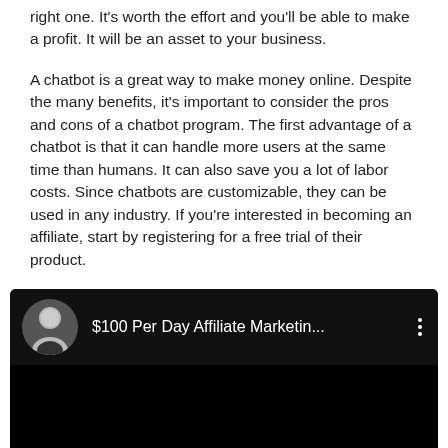right one. It's worth the effort and you'll be able to make a profit. It will be an asset to your business.
A chatbot is a great way to make money online. Despite the many benefits, it's important to consider the pros and cons of a chatbot program. The first advantage of a chatbot is that it can handle more users at the same time than humans. It can also save you a lot of labor costs. Since chatbots are customizable, they can be used in any industry. If you're interested in becoming an affiliate, start by registering for a free trial of their product.
[Figure (screenshot): An embedded video thumbnail showing a YouTube-style video player with a black background. The header shows a circular avatar of a man in a black t-shirt, the title '$100 Per Day Affiliate Marketin...' in white text, and a three-dot menu icon. The video body is entirely black.]